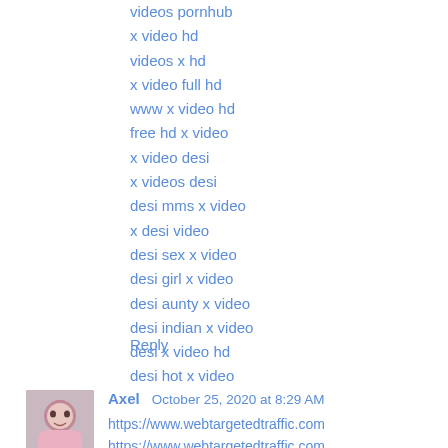videos pornhub
x video hd
videos x hd
x video full hd
www x video hd
free hd x video
x video desi
x videos desi
desi mms x video
x desi video
desi sex x video
desi girl x video
desi aunty x video
desi indian x video
desi x video hd
desi hot x video
Reply
Axel  October 25, 2020 at 8:29 AM
https://www.webtargetedtraffic.com
https://www.webtargetedtraffic.com